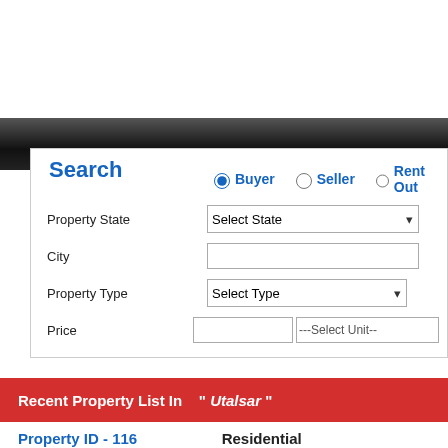[Figure (screenshot): Dark navigation header bar]
Search
Buyer (selected radio), Seller (radio), Rent Out (radio)
Property State | Select State dropdown
City | text input
Property Type | Select Type dropdown
Price | text input | ---Select Unit---
Recent Property List In   " Utalsar "
Property ID - 116    Residential